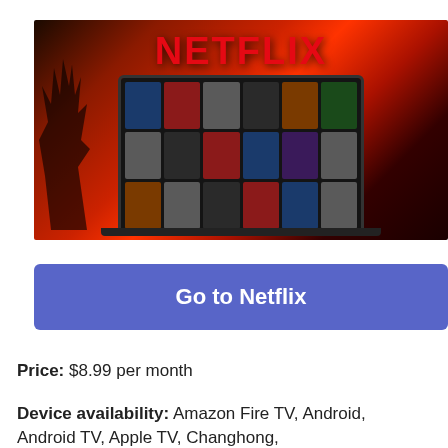[Figure (photo): Netflix logo in red on a warm red/orange background with a laptop showing the Netflix browsing interface with movie thumbnails. A plant silhouette is visible on the left side.]
Go to Netflix
Price: $8.99 per month
Device availability: Amazon Fire TV, Android, Android TV, Apple TV, Changhong,